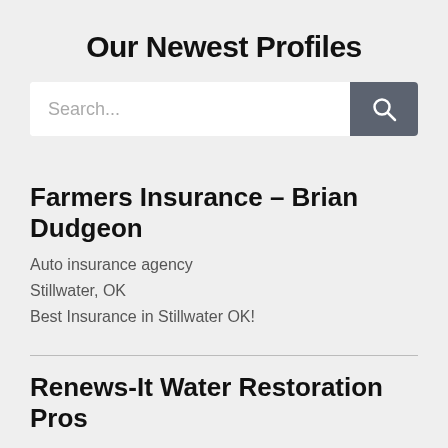Our Newest Profiles
[Figure (other): Search bar with text input placeholder 'Search...' and a dark grey search button with magnifying glass icon]
Farmers Insurance – Brian Dudgeon
Auto insurance agency
Stillwater, OK
Best Insurance in Stillwater OK!
Renews-It Water Restoration Pros